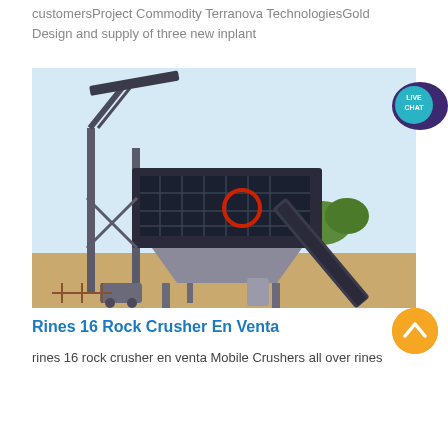customersProject Commodity Terranova TechnologiesGold
Design and supply of three new inplant
[Figure (photo): Industrial rock crusher / screening plant machinery on a construction site with conveyor belts and steel structure frame. A 'LIVE CHAT' speech bubble overlay appears in the top right corner of the image.]
Rines 16 Rock Crusher En Venta
rines 16 rock crusher en venta Mobile Crushers all over rines